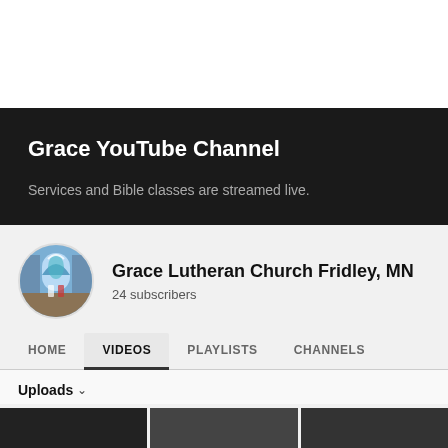Grace YouTube Channel
Services and Bible classes are streamed live.
[Figure (screenshot): YouTube channel page for Grace Lutheran Church Fridley, MN showing channel avatar (church interior with stained glass), channel name, 24 subscribers, and navigation tabs: HOME, VIDEOS (active/selected), PLAYLISTS, CHANNELS, with an Uploads section below.]